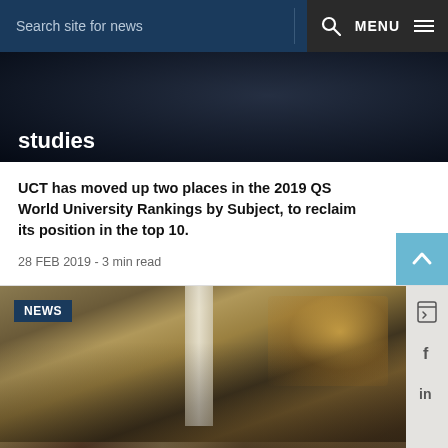Search site for news   MENU
studies
UCT has moved up two places in the 2019 QS World University Rankings by Subject, to reclaim its position in the top 10.
28 FEB 2019 - 3 min read
[Figure (photo): Group photo of students and faculty standing in front of a building with columns and wooden doors. A NEWS badge is visible in the top-left corner.]